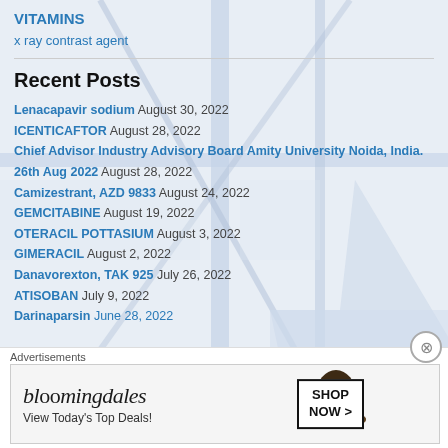VITAMINS
x ray contrast agent
Recent Posts
Lenacapavir sodium August 30, 2022
ICENTICAFTOR August 28, 2022
Chief Advisor Industry Advisory Board Amity University Noida, India. 26th Aug 2022 August 28, 2022
Camizestrant, AZD 9833 August 24, 2022
GEMCITABINE August 19, 2022
OTERACIL POTTASIUM August 3, 2022
GIMERACIL August 2, 2022
Danavorexton, TAK 925 July 26, 2022
ATISOBAN July 9, 2022
Darinaparsin June 28, 2022
[Figure (screenshot): Bloomingdales advertisement banner: 'View Today's Top Deals! SHOP NOW >']